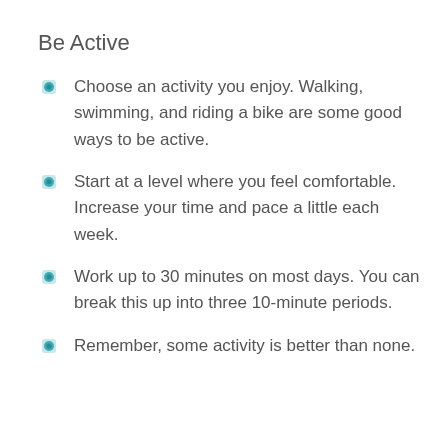Be Active
Choose an activity you enjoy. Walking, swimming, and riding a bike are some good ways to be active.
Start at a level where you feel comfortable. Increase your time and pace a little each week.
Work up to 30 minutes on most days. You can break this up into three 10-minute periods.
Remember, some activity is better than none.